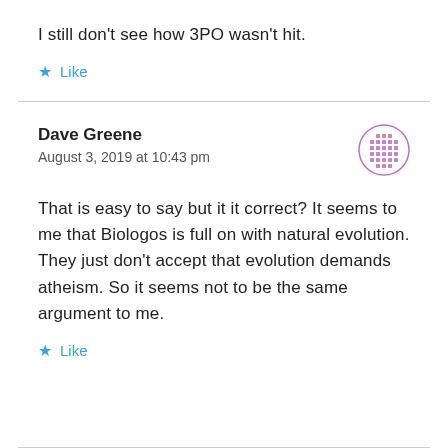I still don't see how 3PO wasn't hit.
Like
Dave Greene
August 3, 2019 at 10:43 pm
That is easy to say but it it correct? It seems to me that Biologos is full on with natural evolution. They just don't accept that evolution demands atheism. So it seems not to be the same argument to me.
Like